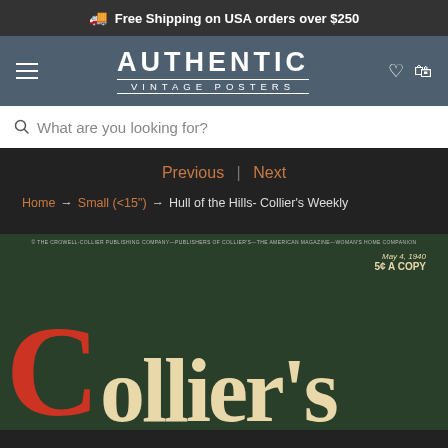Free Shipping on USA orders over $250
[Figure (logo): Authentic Vintage Posters logo with hamburger menu, heart and bag icons]
What are you looking for?
Previous | Next
Home → Small (<15") → Hull of the Hills- Collier's Weekly
[Figure (photo): Collier's Weekly magazine cover - May 4, 1940, 5¢ a copy, published by The Crowell-Collier Publishing Company]